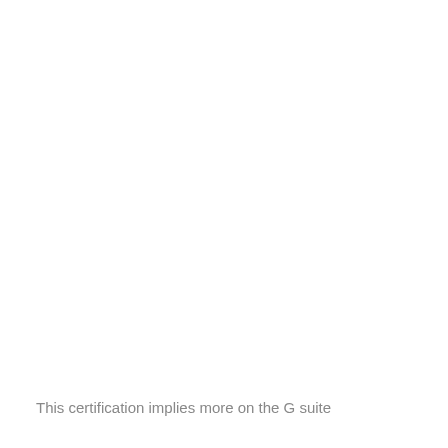This certification implies more on the G suite